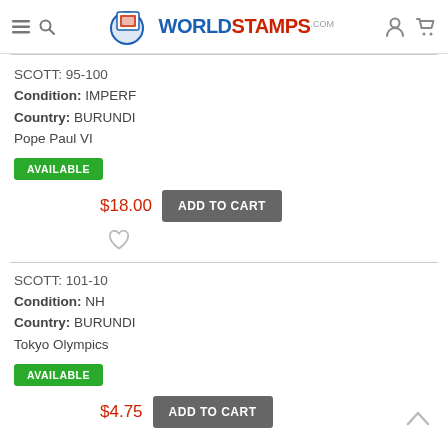WorldStamps.com
SCOTT: 95-100
Condition: IMPERF
Country: BURUNDI
Pope Paul VI
AVAILABLE
$18.00  ADD TO CART
SCOTT: 101-10
Condition: NH
Country: BURUNDI
Tokyo Olympics
AVAILABLE
$4.75  ADD TO CART